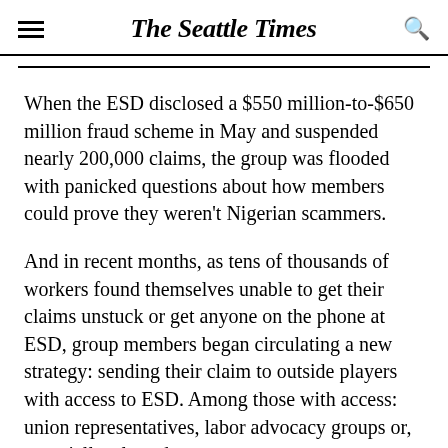The Seattle Times
When the ESD disclosed a $550 million-to-$650 million fraud scheme in May and suspended nearly 200,000 claims, the group was flooded with panicked questions about how members could prove they weren't Nigerian scammers.
And in recent months, as tens of thousands of workers found themselves unable to get their claims unstuck or get anyone on the phone at ESD, group members began circulating a new strategy: sending their claim to outside players with access to ESD. Among those with access: union representatives, labor advocacy groups or, especially, elected